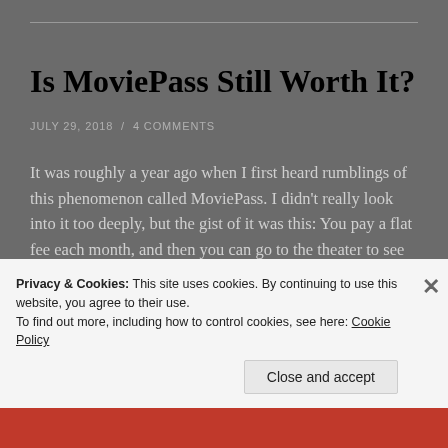Is MoviePass Still Worth It?
JULY 29, 2018  /  4 COMMENTS
It was roughly a year ago when I first heard rumblings of this phenomenon called MoviePass. I didn't really look into it too deeply, but the gist of it was this: You pay a flat fee each month, and then you can go to the theater to see as many movies as you want. Sounds too … Continue reading
Privacy & Cookies: This site uses cookies. By continuing to use this website, you agree to their use.
To find out more, including how to control cookies, see here: Cookie Policy
Close and accept